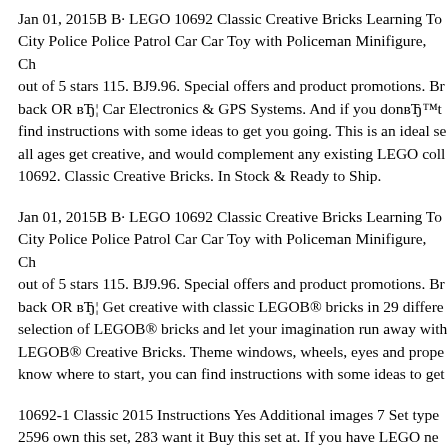Jan 01, 2015B B· LEGO 10692 Classic Creative Bricks Learning To… City Police Police Patrol Car Car Toy with Policeman Minifigure, Ch… out of 5 stars 115. BJ9.96. Special offers and product promotions. Br… back OR вЂ¦ Car Electronics & GPS Systems. And if you donвЂ™t find instructions with some ideas to get you going. This is an ideal se… all ages get creative, and would complement any existing LEGO coll… 10692. Classic Creative Bricks. In Stock & Ready to Ship.
Jan 01, 2015B B· LEGO 10692 Classic Creative Bricks Learning To… City Police Police Patrol Car Car Toy with Policeman Minifigure, Ch… out of 5 stars 115. BJ9.96. Special offers and product promotions. Br… back OR вЂ¦ Get creative with classic LEGOB® bricks in 29 differe… selection of LEGOB® bricks and let your imagination run away with… LEGOB® Creative Bricks. Theme windows, wheels, eyes and prope… know where to start, you can find instructions with some ideas to get…
10692-1 Classic 2015 Instructions Yes Additional images 7 Set type… 2596 own this set, 283 want it Buy this set at. If you have LEGO ne… else to tell us about, send us a message. If you have a lot to tell us, us… … call here it. M et f t ith it J t Cl i 10692 Ch…